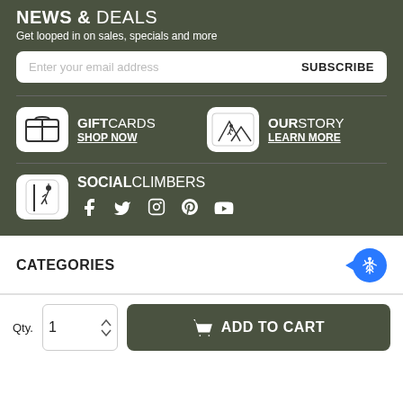NEWS & DEALS
Get looped in on sales, specials and more
Enter your email address  SUBSCRIBE
[Figure (illustration): Gift card icon in white rounded box]
GIFT CARDS
SHOP NOW
[Figure (illustration): Mountain climbing logo in white rounded box]
OUR STORY
LEARN MORE
[Figure (illustration): Rock climber icon in white rounded box]
SOCIAL CLIMBERS
[Figure (infographic): Social media icons: Facebook, Twitter, Instagram, Pinterest, YouTube]
CATEGORIES
[Figure (illustration): Accessibility icon blue circle]
Qty.  1  ADD TO CART